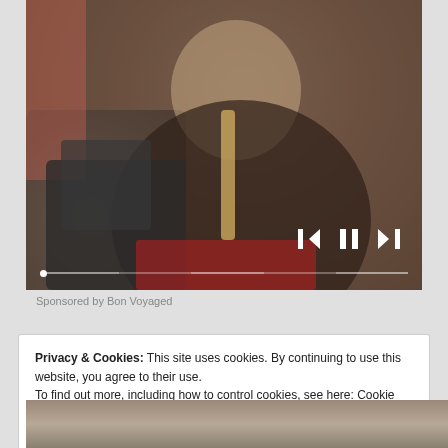[Figure (photo): An elderly man with glasses and a white beard working at a sewing machine, wearing a brown jacket with a measuring tape around his neck. Video player controls visible at bottom with progress bar, skip back, pause, and skip forward buttons.]
Ridiculous Boomer Skills That Are Useless Today
Sponsored by Bon Voyaged
Privacy & Cookies: This site uses cookies. By continuing to use this website, you agree to their use.
To find out more, including how to control cookies, see here: Cookie Policy
Close and accept